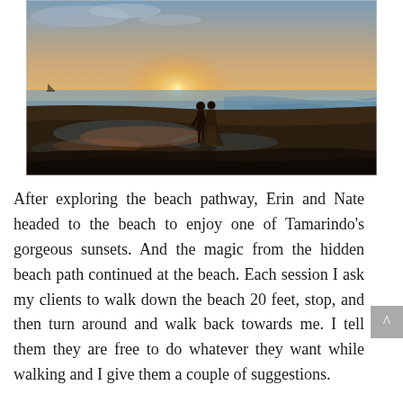[Figure (photo): A couple standing silhouetted on a beach at sunset. The sun is setting on the horizon over the ocean, casting warm orange and golden hues across the sky and reflecting on the wet sand. The couple faces each other near the water's edge.]
After exploring the beach pathway, Erin and Nate headed to the beach to enjoy one of Tamarindo's gorgeous sunsets. And the magic from the hidden beach path continued at the beach. Each session I ask my clients to walk down the beach 20 feet, stop, and then turn around and walk back towards me. I tell them they are free to do whatever they want while walking and I give them a couple of suggestions.